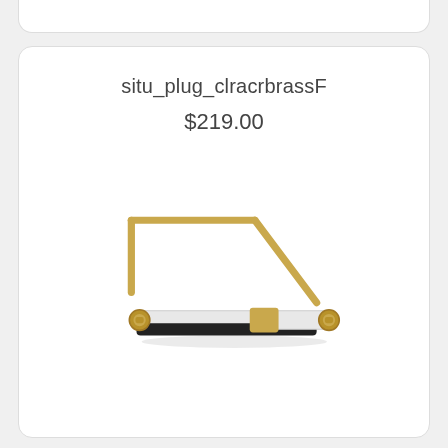situ_plug_clracrbrassF
$219.00
[Figure (photo): A brass picture light / art light fixture with a curved brass arm bracket and a horizontal tube lamp with white and black finish and gold/brass center band, with decorative finials on each end.]